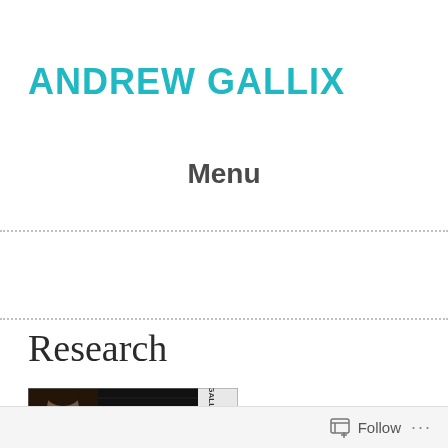ANDREW GALLIX
Menu
Research
[Figure (photo): Banner image for Andrew Gallix website showing a person's photo with dark overlay and text]
Follow ...